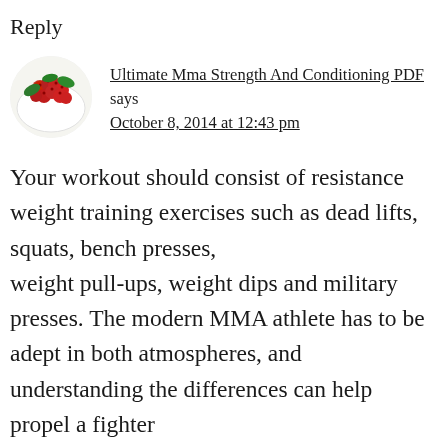Reply
[Figure (photo): Circular avatar image showing a white plate with red berries (cranberries) and green leaves on a white background]
Ultimate Mma Strength And Conditioning PDF says
October 8, 2014 at 12:43 pm
Your workout should consist of resistance weight training exercises such as dead lifts, squats, bench presses,
weight pull-ups, weight dips and military presses. The modern MMA athlete has to be adept in both atmospheres, and understanding the differences can help propel a fighter
to victory. Crime rate is high, assault and rapes